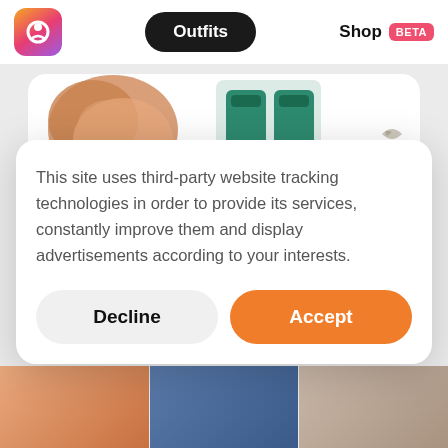Outfits  Shop BETA
[Figure (screenshot): Outfit collage card showing partial view of clothing items: tan/beige garment on left, green velvet sandals in middle, floral/botanical illustration on right]
Poppy  46  4
This site uses third-party website tracking technologies in order to provide its services, constantly improve them and display advertisements according to your interests.
Decline
Accept
[Figure (photo): Bottom thumbnail strip showing partial outfit/person photos]